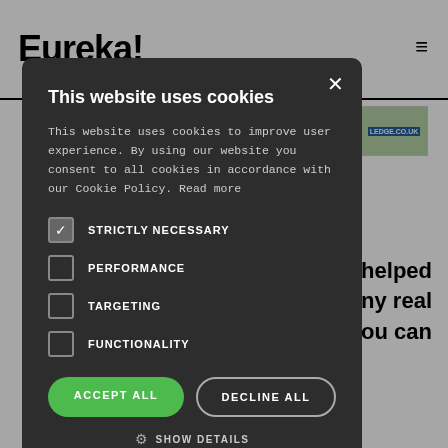Eureka!
[Figure (screenshot): Cookie consent modal dialog on a website. Dark background overlay with rounded rectangle modal showing cookie options: Strictly Necessary (checked), Performance (unchecked), Targeting (unchecked), Functionality (unchecked), with Accept All (green) and Decline All buttons, and Show Details link.]
This website uses cookies
This website uses cookies to improve user experience. By using our website you consent to all cookies in accordance with our Cookie Policy. Read more
STRICTLY NECESSARY
PERFORMANCE
TARGETING
FUNCTIONALITY
ACCEPT ALL
DECLINE ALL
SHOW DETAILS